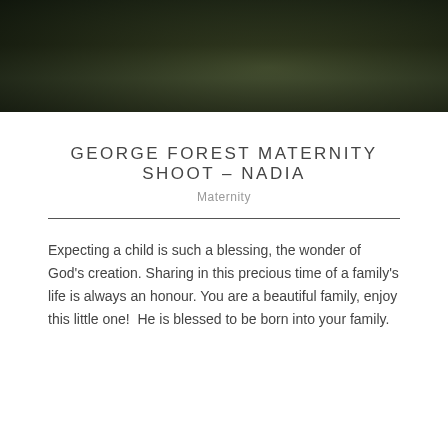[Figure (photo): Dark moody outdoor photo showing lush green foliage and vegetation, dimly lit forest or garden setting with dark tones]
GEORGE FOREST MATERNITY SHOOT – NADIA
Maternity
Expecting a child is such a blessing, the wonder of God's creation. Sharing in this precious time of a family's life is always an honour. You are a beautiful family, enjoy this little one!  He is blessed to be born into your family.